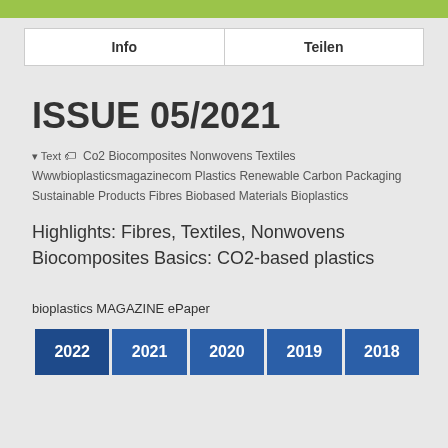Info | Teilen
ISSUE 05/2021
Text  Co2 Biocomposites Nonwovens Textiles Wwwbioplasticsmagazinecom Plastics Renewable Carbon Packaging Sustainable Products Fibres Biobased Materials Bioplastics
Highlights: Fibres, Textiles, Nonwovens Biocomposites Basics: CO2-based plastics
bioplastics MAGAZINE ePaper
| 2022 | 2021 | 2020 | 2019 | 2018 |
| --- | --- | --- | --- | --- |